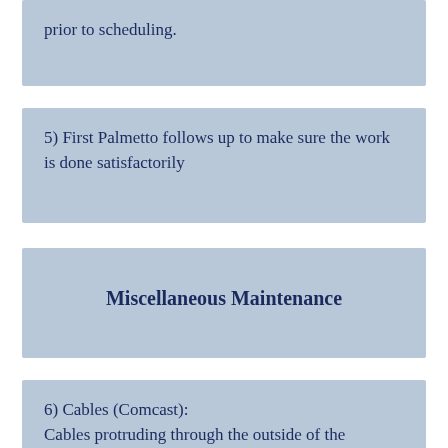prior to scheduling.
5) First Palmetto follows up to make sure the work is done satisfactorily
Miscellaneous Maintenance
6) Cables (Comcast):
Cables protruding through the outside of the building are unsightly, damaging to the